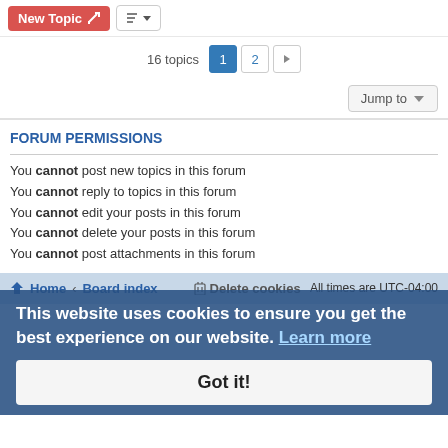New Topic
16 topics  1  2  >
Jump to
FORUM PERMISSIONS
You cannot post new topics in this forum
You cannot reply to topics in this forum
You cannot edit your posts in this forum
You cannot delete your posts in this forum
You cannot post attachments in this forum
Home · Board index   Delete cookies   All times are UTC-04:00
This website uses cookies to ensure you get the best experience on our website. Learn more  Got it!